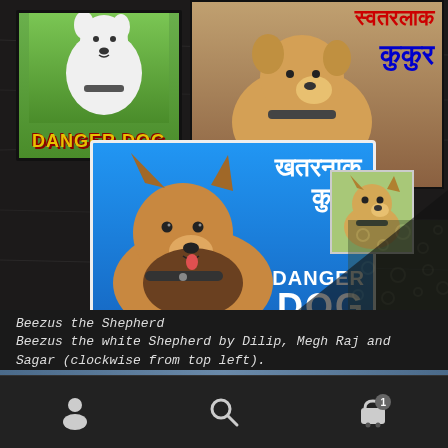[Figure (photo): A dark wooden surface with three hand-painted 'DANGER DOG' warning signs featuring shepherd dogs with Hindi text (खतरनाक कुकुर meaning 'Dangerous Dog'). Top-left: white shepherd on green background with 'DANGER DOG' in yellow. Top-right: tan/golden dog on brown background with red and blue Hindi text. Center-bottom: large blue sign with German Shepherd and white text 'खतरनाक कुकुर DANGER DOG'. Small photo inset of dog at right.]
Beezus the Shepherd
Beezus the white Shepherd by Dilip, Megh Raj and Sagar (clockwise from top left).